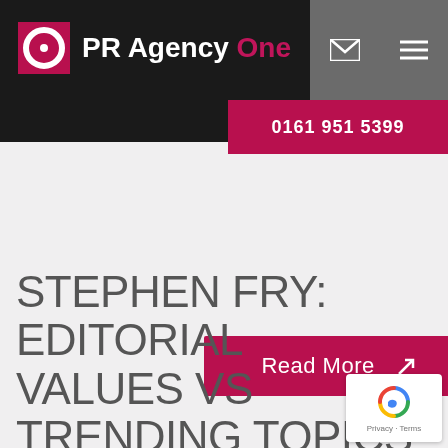[Figure (logo): PR Agency One logo with pink square icon and white/pink text on black navbar background]
0161 951 5399
Read More
STEPHEN FRY: EDITORIAL VALUES VS TRENDING TOPICS
[Figure (other): Google reCAPTCHA badge in bottom right corner with Privacy - Terms text]